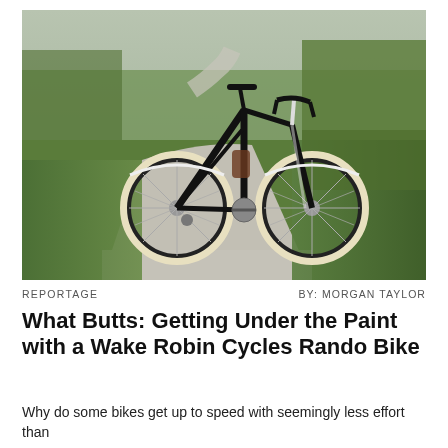[Figure (photo): A black randonneur bicycle with tan/cream tires and white fenders, standing on a gravel path surrounded by green grass and shrubs, with a winding road in the background.]
REPORTAGE
BY: MORGAN TAYLOR
What Butts: Getting Under the Paint with a Wake Robin Cycles Rando Bike
Why do some bikes get up to speed with seemingly less effort than